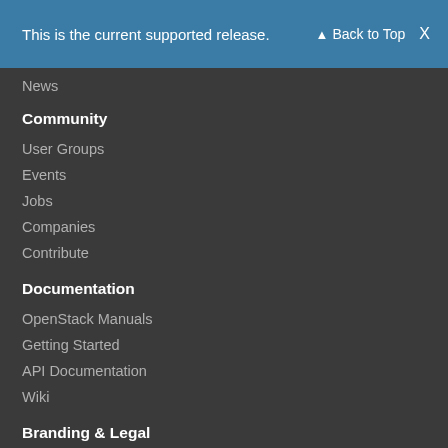This is the current supported release.
Back to Top  X
News
Community
User Groups
Events
Jobs
Companies
Contribute
Documentation
OpenStack Manuals
Getting Started
API Documentation
Wiki
Branding & Legal
Logos & Guidelines
Trademark Policy
Privacy Policy
OpenStack CLA